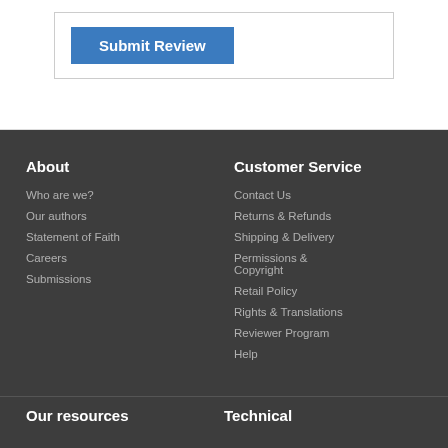Submit Review
About
Who are we?
Our authors
Statement of Faith
Careers
Submissions
Customer Service
Contact Us
Returns & Refunds
Shipping & Delivery
Permissions & Copyright
Retail Policy
Rights & Translations
Reviewer Program
Help
Our resources
Technical